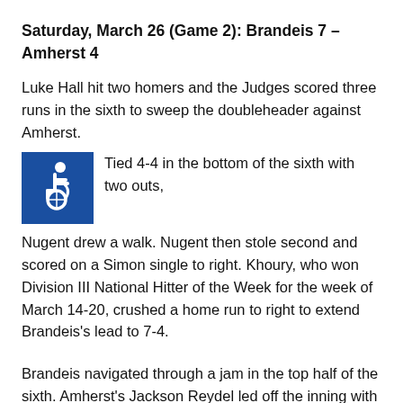Saturday, March 26 (Game 2): Brandeis 7 – Amherst 4
Luke Hall hit two homers and the Judges scored three runs in the sixth to sweep the doubleheader against Amherst.
[Figure (illustration): Blue square accessibility icon (wheelchair symbol)]
Tied 4-4 in the bottom of the sixth with two outs, Nugent drew a walk. Nugent then stole second and scored on a Simon single to right. Khoury, who won Division III National Hitter of the Week for the week of March 14-20, crushed a home run to right to extend Brandeis's lead to 7-4.
Brandeis navigated through a jam in the top half of the sixth. Amherst's Jackson Reydel led off the inning with a homer off pitcher Gavin Dauer '22 to